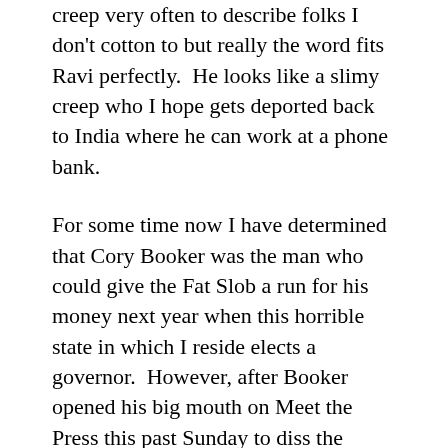creep very often to describe folks I don't cotton to but really the word fits Ravi perfectly.  He looks like a slimy creep who I hope gets deported back to India where he can work at a phone bank.
For some time now I have determined that Cory Booker was the man who could give the Fat Slob a run for his money next year when this horrible state in which I reside elects a governor.  However, after Booker opened his big mouth on Meet the Press this past Sunday to diss the Obama campaign I wonder if he inhaled too much smoke when he ran into that burning building in Newark a few months ago.  He was on the show as a Obama surrogate and promptly criticized a central talking point of